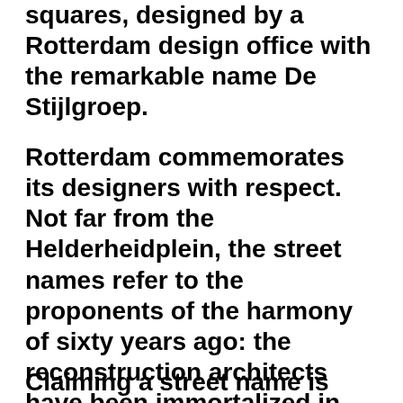squares, designed by a Rotterdam design office with the remarkable name De Stijlgroep.
Rotterdam commemorates its designers with respect. Not far from the Helderheidplein, the street names refer to the proponents of the harmony of sixty years ago: the reconstruction architects have been immortalized in the neat streets and squares behind the Kop van Zuid Courthouse. This is also South but another South, more center, more grandeur, more promise. No dirt is dumped here.
Claiming a street name is one of the ways to commemorate and the